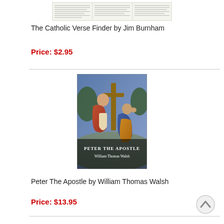[Figure (photo): Small thumbnail of The Catholic Verse Finder book cover showing a text-heavy page layout]
The Catholic Verse Finder by Jim Burnham
Price: $2.95
[Figure (photo): Book cover of Peter The Apostle by William Thomas Walsh, showing a classical painting of Jesus carrying a cross with an elderly man beside him]
Peter The Apostle by William Thomas Walsh
Price: $13.95